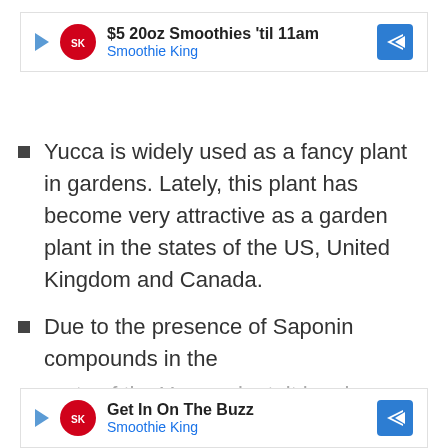[Figure (other): Smoothie King advertisement banner: $5 20oz Smoothies 'til 11am]
Yucca is widely used as a fancy plant in gardens. Lately, this plant has become very attractive as a garden plant in the states of the US, United Kingdom and Canada.
Due to the presence of Saponin compounds in the roots of the Yucca plant, it has been known to be
[Figure (other): Smoothie King advertisement banner: Get In On The Buzz]